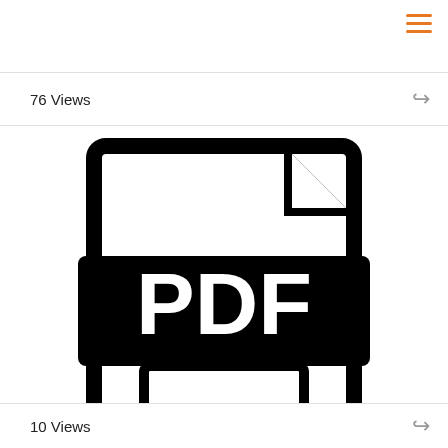76 Views
[Figure (illustration): PDF file icon — a document outline with folded top-right corner, a thick black banner across the middle with white bold text reading 'PDF', and a lower rectangle forming the bottom of the document.]
ANGER MANAGEMENT - THE BELFER CENTER FOR SCIENCE AND INTERNATIONAL ...
10 Views